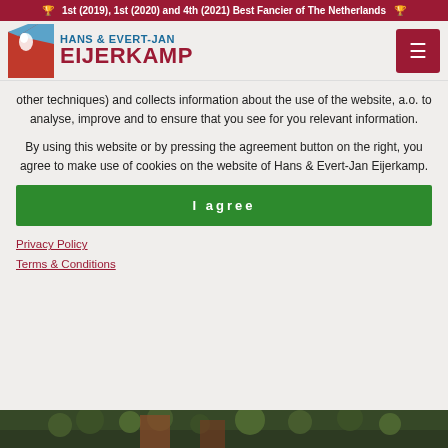🏆 1st (2019), 1st (2020) and 4th (2021) Best Fancier of The Netherlands 🏆
[Figure (logo): Hans & Evert-Jan Eijerkamp logo with bird icon and navigation hamburger menu]
other techniques) and collects information about the use of the website, a.o. to analyse, improve and to ensure that you see for you relevant information.
By using this website or by pressing the agreement button on the right, you agree to make use of cookies on the website of Hans & Evert-Jan Eijerkamp.
I agree
Privacy Policy
Terms & Conditions
[Figure (photo): Aerial photograph of a building surrounded by trees]